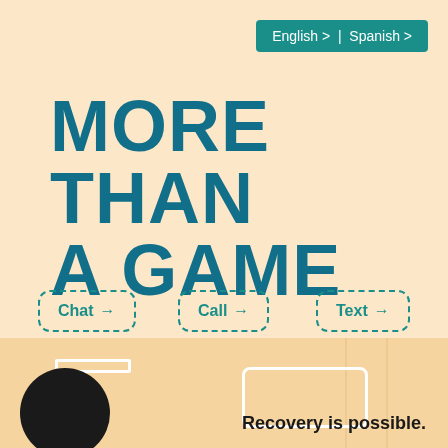English > | Spanish >
MORE THAN A GAME
Chat →
Call →
Text →
[Figure (illustration): Hamburger menu icon button (teal rounded square with three white lines)]
[Figure (illustration): Bottom section showing a basketball player's jersey and basketball, with a white outline shape and vertical court lines on a warm tan background]
Recovery is possible.